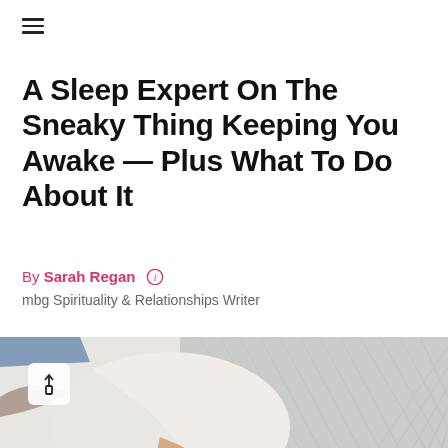≡
A Sleep Expert On The Sneaky Thing Keeping You Awake — Plus What To Do About It
By Sarah Regan  ⓘ
mbg Spirituality & Relationships Writer
[Figure (photo): A person lying on a bed wearing a white top and denim shorts, with a grey blanket nearby, photographed from above at an angle.]